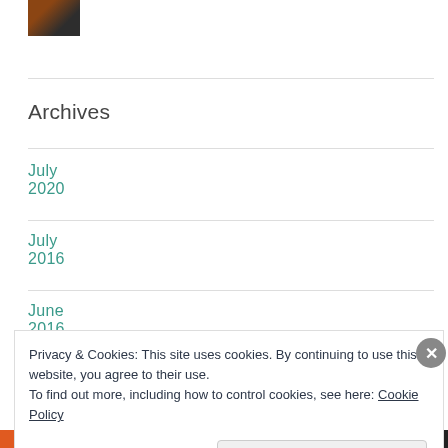[Figure (photo): Small thumbnail photo of a person]
Archives
July 2020
July 2016
June 2016
Privacy & Cookies: This site uses cookies. By continuing to use this website, you agree to their use.
To find out more, including how to control cookies, see here: Cookie Policy
Close and accept